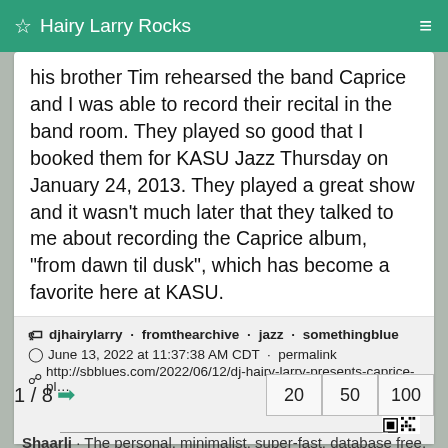Hairy Larry Rocks
his brother Tim rehearsed the band Caprice and I was able to record their recital in the band room. They played so good that I booked them for KASU Jazz Thursday on January 24, 2013. They played a great show and it wasn't much later that they talked to me about recording the Caprice album, “from dawn til dusk”, which has become a favorite here at KASU.
djhairylarry · fromthearchive · jazz · somethingblue
June 13, 2022 at 11:37:38 AM CDT · permalink
http://sbblues.com/2022/06/12/dj-hairy-larry-presents-caprice-pl...
1 / 8
20  50  100
Shaarli · The personal, minimalist, super-fast, database free, bookmarking service by the Shaarli community · Documentation